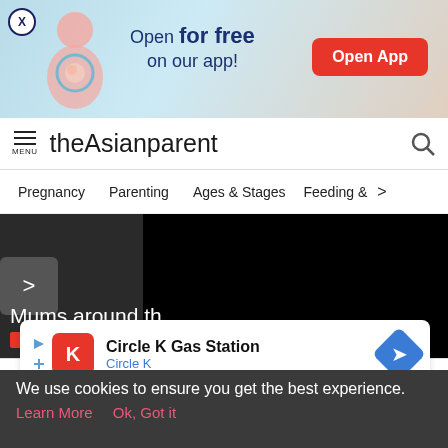[Figure (screenshot): App promotional banner with pregnancy illustration, 'Open for free on our app!' text and red 'Open App' button]
theAsianparent
Pregnancy   Parenting   Ages & Stages   Feeding & >
[Figure (screenshot): Dark content area with slider showing 'Mums around th' text and a black video panel]
[Figure (infographic): Circle K Gas Station advertisement card with Circle K logo, name and direction arrow]
[Figure (screenshot): Bottom navigation bar with Tools, Articles, center baby feet icon, Feed, and Poll buttons]
We use cookies to ensure you get the best experience.
Learn More    Ok, Got it